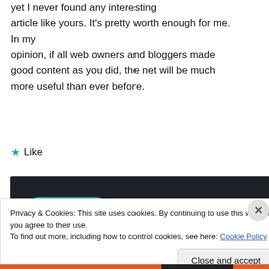yet I never found any interesting article like yours. It's pretty worth enough for me. In my opinion, if all web owners and bloggers made good content as you did, the net will be much more useful than ever before.
★ Like
[Figure (screenshot): Dark banner with a teal 'Learn More' rounded button]
Privacy & Cookies: This site uses cookies. By continuing to use this website, you agree to their use.
To find out more, including how to control cookies, see here: Cookie Policy
Close and accept